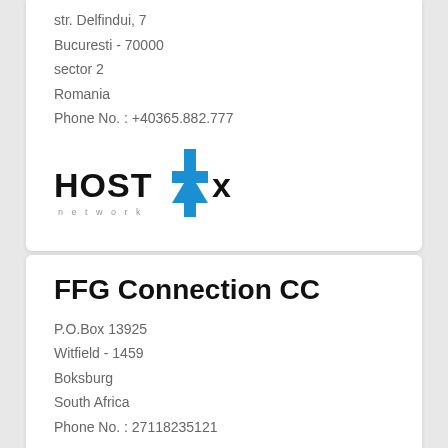str. Delfindui, 7
Bucuresti - 70000
sector 2
Romania
Phone No. : +40365.882.777
[Figure (logo): HOST-DX network logo with blue arrow/cross shape and black text]
FFG Connection CC
P.O.Box 13925
Witfield - 1459
Boksburg
South Africa
Phone No. : 27118235121
[Figure (logo): FFG logo with registered trademark symbol, partial view at bottom]